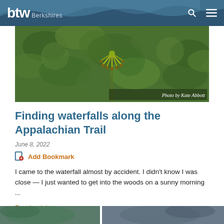btw Berkshires
[Figure (photo): Close-up photo of yellow-green wildflower blossoms with green leafy background. Caption: Photo by Kate Abbott]
Photo by Kate Abbott
Finding waterfalls along the Appalachian Trail
June 8, 2022
Add Bookmark
I came to the waterfall almost by accident. I didn't know I was close — I just wanted to get into the woods on a sunny morning ...
Read article  »
[Figure (photo): Partial view of another article's photo at the bottom of the page]